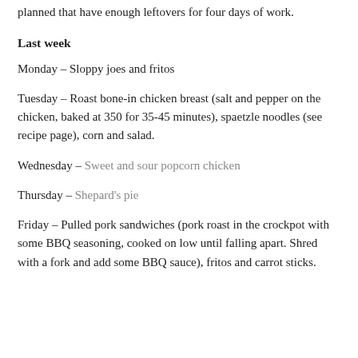planned that have enough leftovers for four days of work.
Last week
Monday – Sloppy joes and fritos
Tuesday – Roast bone-in chicken breast (salt and pepper on the chicken, baked at 350 for 35-45 minutes), spaetzle noodles (see recipe page), corn and salad.
Wednesday – Sweet and sour popcorn chicken
Thursday – Shepard's pie
Friday – Pulled pork sandwiches (pork roast in the crockpot with some BBQ seasoning, cooked on low until falling apart. Shred with a fork and add some BBQ sauce), fritos and carrot sticks.